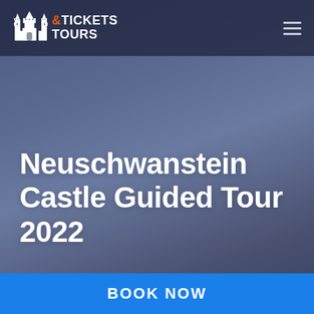[Figure (logo): Tickets & Tours logo with white castle silhouette icon and orange ampersand, white text reading TICKETS TOURS]
Neuschwanstein Castle Guided Tour 2022
BOOK NOW